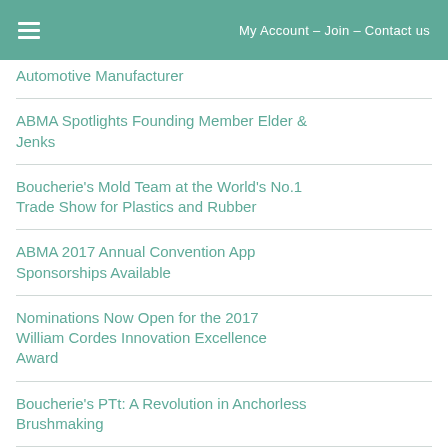My Account - Join - Contact us
Automotive Manufacturer
ABMA Spotlights Founding Member Elder & Jenks
Boucherie's Mold Team at the World's No.1 Trade Show for Plastics and Rubber
ABMA 2017 Annual Convention App Sponsorships Available
Nominations Now Open for the 2017 William Cordes Innovation Excellence Award
Boucherie's PTt: A Revolution in Anchorless Brushmaking
Boucherie Borghi Group at K 2016